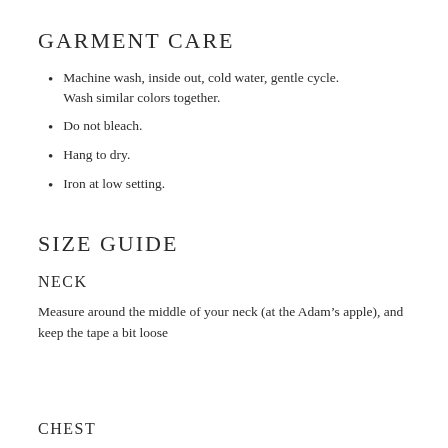GARMENT CARE
Machine wash, inside out, cold water, gentle cycle. Wash similar colors together.
Do not bleach.
Hang to dry.
Iron at low setting.
SIZE GUIDE
NECK
Measure around the middle of your neck (at the Adam’s apple), and keep the tape a bit loose
CHEST